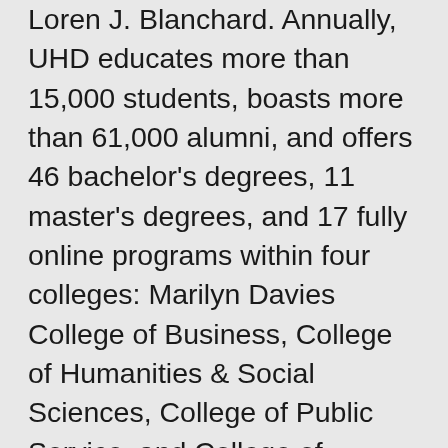Loren J. Blanchard. Annually, UHD educates more than 15,000 students, boasts more than 61,000 alumni, and offers 46 bachelor's degrees, 11 master's degrees, and 17 fully online programs within four colleges: Marilyn Davies College of Business, College of Humanities & Social Sciences, College of Public Service, and College of Sciences & Technology.
For the fourth consecutive year, U.S. News & World Report ranks UHD among universities across the nation for Best Online Criminal Justice Programs (No. 27 and No. 15 for Veterans) and Best Online Bachelor's Programs.
UHD has the most affordable tuition among four-year universities in Houston and one of the lowest in Texas. U.S. News ranked the University among Top Performers on Social Mobility and awarded UHD a No. 1 ranking as the most diverse institution of higher education in the southern region of the U.S. The University is noted nationally as a Hispanic-Serving Institution, Minority-